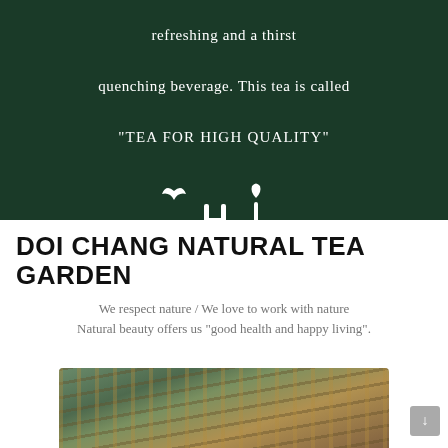refreshing and a thirst quenching beverage. This tea is called “TEA FOR HIGH QUALITY”
[Figure (logo): T4Hi stylized logo in white on dark green background]
DOI CHANG NATURAL TEA GARDEN
We respect nature / We love to work with nature Natural beauty offers us “good health and happy living”.
[Figure (photo): Partial photo of bamboo structure with weathered wooden and green elements]